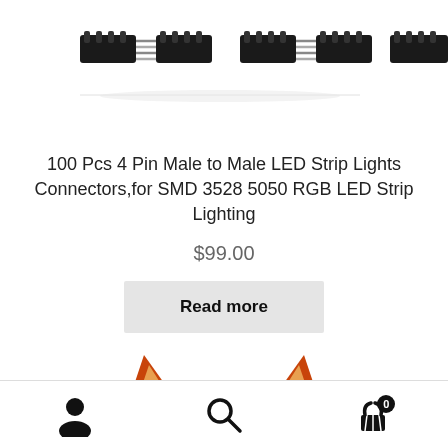[Figure (photo): Row of 4-pin male LED strip connector components on white background]
100 Pcs 4 Pin Male to Male LED Strip Lights Connectors,for SMD 3528 5050 RGB LED Strip Lighting
$99.00
Read more
[Figure (photo): Cartoon fox character peeking from bottom, showing top of head with ears and eyes]
User icon | Search icon | Cart icon with badge 0